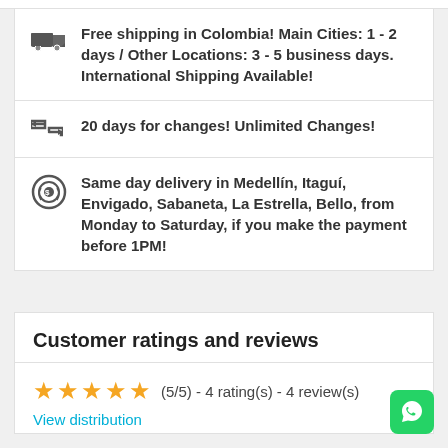Free shipping in Colombia! Main Cities: 1 - 2 days / Other Locations: 3 - 5 business days. International Shipping Available!
20 days for changes! Unlimited Changes!
Same day delivery in Medellín, Itaguí, Envigado, Sabaneta, La Estrella, Bello, from Monday to Saturday, if you make the payment before 1PM!
Customer ratings and reviews
★★★★★ (5/5)  - 4 rating(s) - 4 review(s)
View distribution